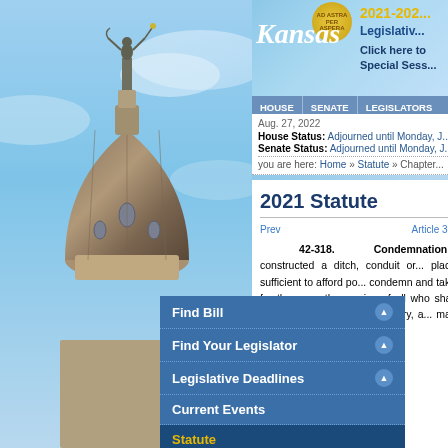[Figure (photo): Kansas state capitol building dome with statue on top, blue sky background]
2021-2022 Legislative Session — Click here to Special Session | HOUSE | SENATE | LEGISLATORS
Aug. 27, 2022
House Status: Adjourned until Monday, J...
Senate Status: Adjourned until Monday, J...
you are here: Home » Statute » Chapter
Find Bill
Find Your Legislator
Legislative Deadlines
Current Events
Statute
Legislative Resources
Administrative Services
Division of Post Audit
Information Services
Research Department
2021 Statute
Prev                    Article 3
42-318.    Condemnation... constructed a ditch, conduit or place sufficient to afford po... condemn and take for the ere... the service of all who shall re... of such mill or manufactory, a... may at any time afterwards...